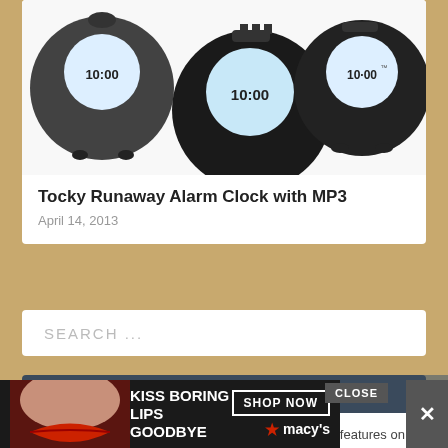[Figure (photo): Three black round alarm clock gadgets (Tocky Runaway Alarm Clock) with digital displays showing 10:00]
Tocky Runaway Alarm Clock with MP3
April 14, 2013
SEARCH ...
DISCLOSURE
GetdatGadget may be an affiliate for products that it features on this website. Purchasing of these items through our links will earn...
[Figure (photo): Advertisement banner: 'KISS BORING LIPS GOODBYE' with woman's red lips, SHOP NOW button, and Macy's logo with red star]
CLOSE